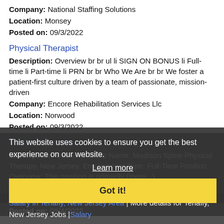Company: National Staffing Solutions
Location: Monsey
Posted on: 09/3/2022
Physical Therapist
Description: Overview br br ul li SIGN ON BONUS li Full-time li Part-time li PRN br br Who We Are br br We foster a patient-first culture driven by a team of passionate, mission-driven
Company: Encore Rehabilitation Services Llc
Location: Norwood
Posted on: 09/3/2022
Medical Receptionist
Description: Overview Clinic Name: Madison Spine Physical Therapy, New Jersey. Employment Type: Full-Time Position Overview: This position is primarily (more...)
Company: Madison Spine and PT
Location: Tenafly
Posted on: 09/4/2022
This website uses cookies to ensure you get the best experience on our website.
Learn more
Got it!
Salary in Tenafly, New Jersey Area | More details for Tenafly, New Jersey Jobs |Salary